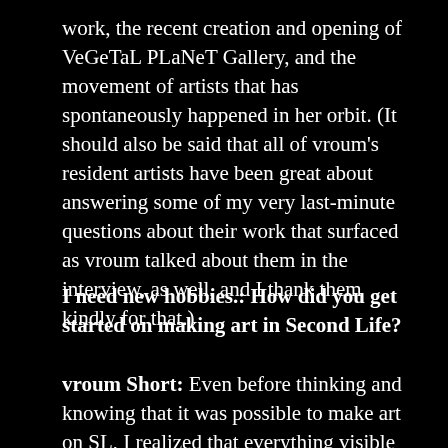work, the recent creation and opening of VeGeTaL PLaNeT Gallery, and the movement of artists that has spontaneously happened in her orbit. (It should also be said that all of vroum's resident artists have been great about answering some of my very last-minute questions about their work that surfaced as vroum talked about them in the interview, as well, and I thank them kindly for that.)
I need new hobbies.: How did you get started on making art in Second Life?
vroum Short: Even before thinking and knowing that it was possible to make art on SL, I realized that everything visible on SL was